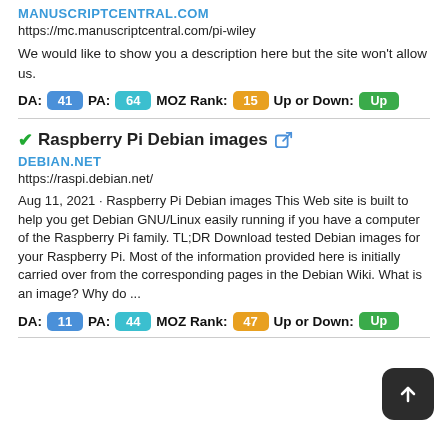MANUSCRIPTCENTRAL.COM
https://mc.manuscriptcentral.com/pi-wiley
We would like to show you a description here but the site won't allow us.
DA: 41  PA: 64  MOZ Rank: 15  Up or Down: Up
Raspberry Pi Debian images
DEBIAN.NET
https://raspi.debian.net/
Aug 11, 2021 · Raspberry Pi Debian images This Web site is built to help you get Debian GNU/Linux easily running if you have a computer of the Raspberry Pi family. TL;DR Download tested Debian images for your Raspberry Pi. Most of the information provided here is initially carried over from the corresponding pages in the Debian Wiki. What is an image? Why do ...
DA: 11  PA: 44  MOZ Rank: 47  Up or Down: Up